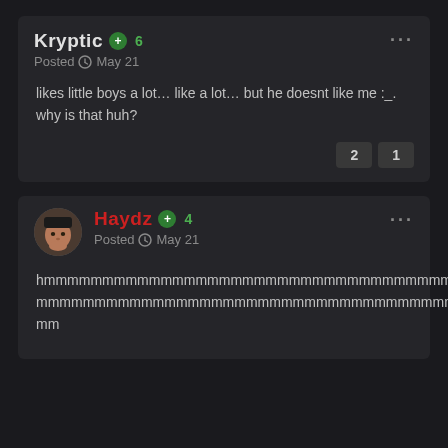Kryptic +6 Posted May 21
likes little boys a lot... like a lot... but he doesnt like me :_. why is that huh?
2  1
[Figure (photo): Profile avatar photo of user Haydz, appears to be a man with dark hat]
Haydz +4 Posted May 21
hmmmmmmmmmmmmmmmmmmmmmmmmmmmmmmmmmmmmm mmmmmmmmmmmmmmmmmmmmmmmmmmmmmmmmmmmmmm mm